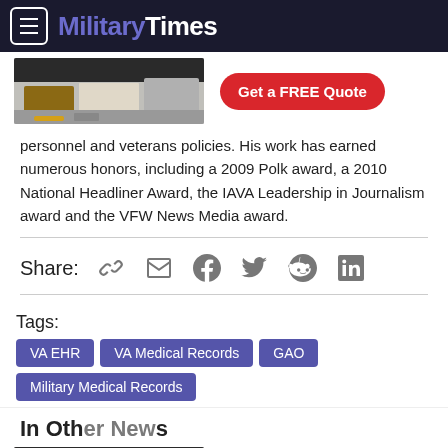MilitaryTimes
[Figure (photo): Advertisement banner showing a kitchen interior with a red 'Get a FREE Quote' button]
personnel and veterans policies. His work has earned numerous honors, including a 2009 Polk award, a 2010 National Headliner Award, the IAVA Leadership in Journalism award and the VFW News Media award.
Share: [link] [email] [facebook] [twitter] [reddit] [linkedin]
Tags: VA EHR  VA Medical Records  GAO  Military Medical Records
In Other News
[Figure (photo): Advertisement banner showing a kitchen interior with a red 'Get a FREE Quote' button]